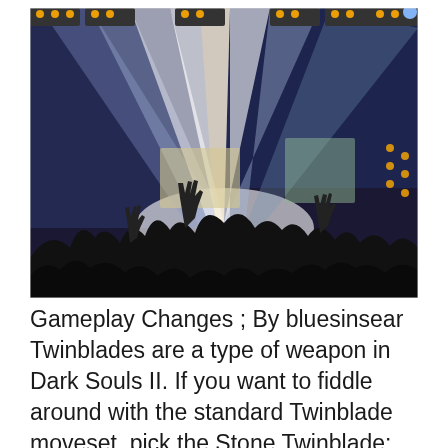[Figure (photo): Concert photo showing silhouettes of crowd with raised hands against dramatic stage lighting beams in blue, white, and orange colors radiating from the stage.]
Gameplay Changes ; By bluesinsear Twinblades are a type of weapon in Dark Souls II. If you want to fiddle around with the standard Twinblade moveset, pick the Stone Twinblade: "A" scaling with Strength and a ton of style points! And build a melee hex